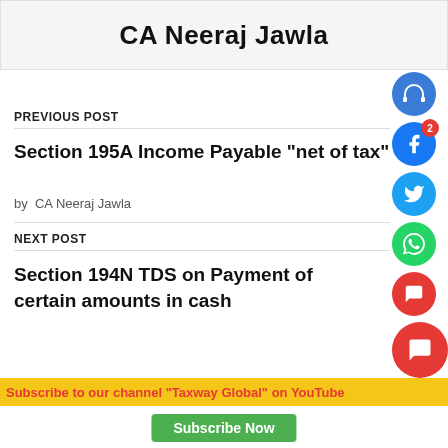CA Neeraj Jawla
PREVIOUS POST
Section 195A Income Payable “net of tax”
by CA Neeraj Jawla
NEXT POST
Section 194N TDS on Payment of certain amounts in cash
Subscribe to our channel "Taxway Global" on YouTube
Subscribe Now